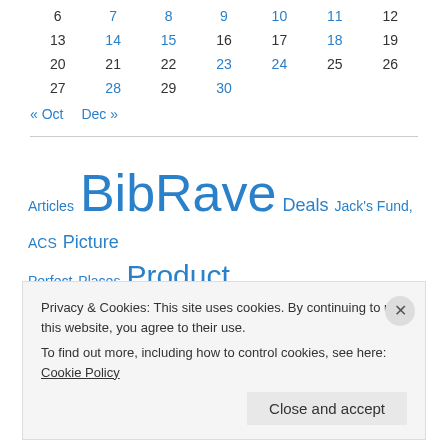| 6 | 7 | 8 | 9 | 10 | 11 | 12 |
| 13 | 14 | 15 | 16 | 17 | 18 | 19 |
| 20 | 21 | 22 | 23 | 24 | 25 | 26 |
| 27 | 28 | 29 | 30 |  |  |  |
« Oct   Dec »
[Figure (infographic): Tag cloud with words: Articles, BibRave (large), Deals, Jack's Fund ACS, Picture, Perfect, Places, Product Reviews, Race (largest)]
Privacy & Cookies: This site uses cookies. By continuing to use this website, you agree to their use. To find out more, including how to control cookies, see here: Cookie Policy
Close and accept